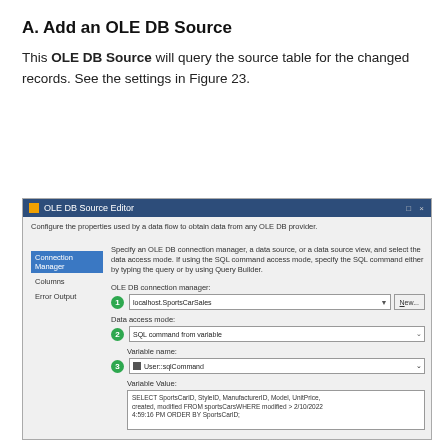A. Add an OLE DB Source
This OLE DB Source will query the source table for the changed records. See the settings in Figure 23.
[Figure (screenshot): OLE DB Source Editor dialog window showing: Connection Manager tab selected (with Columns and Error Output below), description text about configuring OLE DB provider properties. Three numbered settings: 1) OLE DB connection manager dropdown showing 'localhost.SportsCarSales' with New... button, 2) Data access mode dropdown showing 'SQL command from variable', 3) Variable name dropdown showing 'User::sqlCommand'. Variable Value text area showing SELECT query: SELECT SportsCarlD, StyleID, ManufacturerID, Model, UnitPrice, created, modified FROM sportsCarsWHERE modified > 2/10/2022 4:59:16 PM ORDER BY SportsCarlD;]